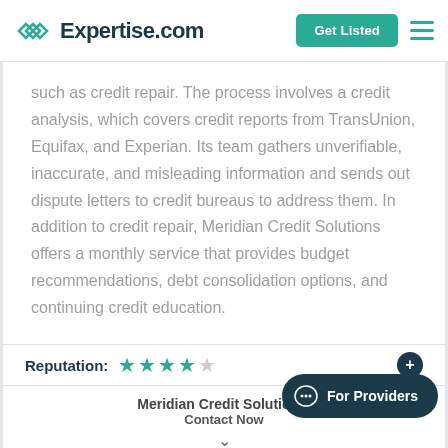Expertise.com
such as credit repair. The process involves a credit analysis, which covers credit reports from TransUnion, Equifax, and Experian. Its team gathers unverifiable, inaccurate, and misleading information and sends out dispute letters to credit bureaus to address them. In addition to credit repair, Meridian Credit Solutions offers a monthly service that provides budget recommendations, debt consolidation options, and continuing credit education.
Reputation: ★★★★☆
Meridian Credit Solutions, Contact Now